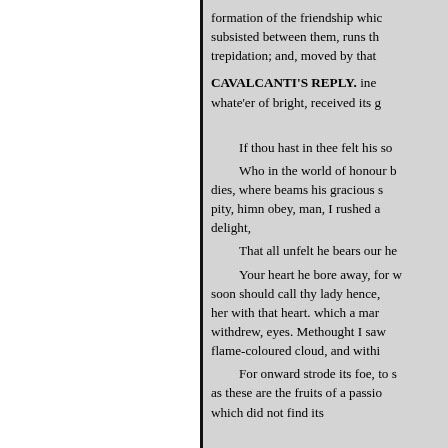formation of the friendship which subsisted between them, runs thu trepidation; and, moved by that
CAVALCANTI'S REPLY. ine whate'er of bright, received its g
If thou hast in thee felt his sov
Who in the world of honour b dies, where beams his gracious s pity, himn obey, man, I rushed aw delight,
That all unfelt he bears our he
Your heart he bore away, for w soon should call thy lady hence, her with that heart. which a mar withdrew, eyes. Methought I saw flame-coloured cloud, and withi
For onward strode its foe, to s as these are the fruits of a passio which did not find its